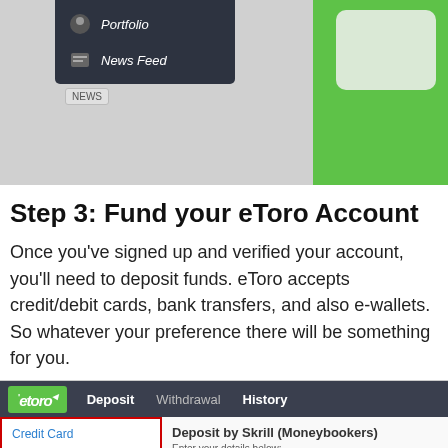[Figure (screenshot): Screenshot of eToro platform showing navigation menu with Portfolio and News Feed items, overlaid on a decorative background with a green panel on the right.]
Step 3: Fund your eToro Account
Once you've signed up and verified your account, you'll need to deposit funds. eToro accepts credit/debit cards, bank transfers, and also e-wallets. So whatever your preference there will be something for you.
[Figure (screenshot): Screenshot of eToro deposit interface showing navigation bar with Deposit, Withdrawal, History tabs, a list of payment methods (Credit Card, PayPal) highlighted with red border, and a Deposit by Skrill (Moneybookers) form with currency USD, amount 500, email and promotion code fields. An arrow points to the form. An English language selector overlay is shown at bottom left.]